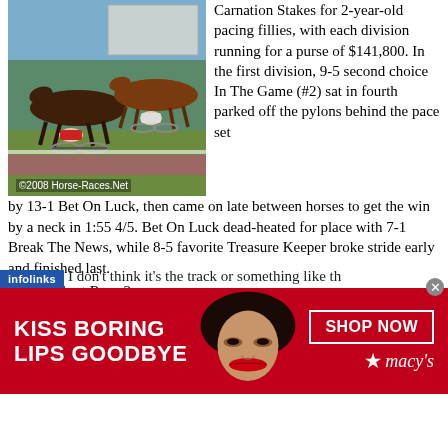[Figure (photo): Harness racing photo showing horses and sulkies on a track, copyright 2008 Horse-Races.Net]
Carnation Stakes for 2-year-old pacing fillies, with each division running for a purse of $141,800. In the first division, 9-5 second choice In The Game (#2) sat in fourth parked off the pylons behind the pace set by 13-1 Bet On Luck, then came on late between horses to get the win by a neck in 1:55 4/5. Bet On Luck dead-heated for place with 7-1 Break The News, while 8-5 favorite Treasure Keeper broke stride early and finished last.
Results chart Race 3
Winning driver John Campbell said, "She's got a couple of issues with her gait; we've got to get her a little smoother so she's handier when she gets in tough. That'll hurt her if she doesn't, but she's got lots of go to her and she's very game, so she does have the tools to work with. Nifty's (trainer Richard Norman) just got to make some to on her. I don't think it's the track or something like th